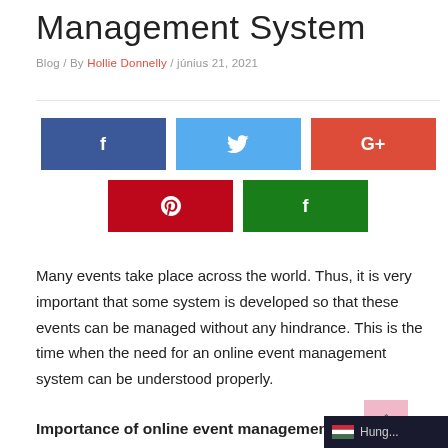Management System
Blog / By Hollie Donnelly / június 21, 2021
[Figure (other): Social share buttons: Facebook (blue), Twitter (light blue), Google+ (red), Pinterest (dark red), Flipboard (green)]
Many events take place across the world. Thus, it is very important that some system is developed so that these events can be managed without any hindrance. This is the time when the need for an online event management system can be understood properly.
Importance of online event management syste...